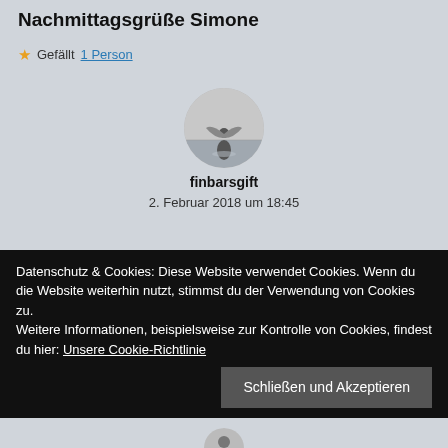Nachmittagsgrüße Simone
★ Gefällt 1 Person
[Figure (photo): Circular profile avatar showing a figure with wings standing in water, black and white/sepia style photo]
finbarsgift
2. Februar 2018 um 18:45
Datenschutz & Cookies: Diese Website verwendet Cookies. Wenn du die Website weiterhin nutzt, stimmst du der Verwendung von Cookies zu.
Weitere Informationen, beispielsweise zur Kontrolle von Cookies, findest du hier: Unsere Cookie-Richtlinie
Schließen und Akzeptieren